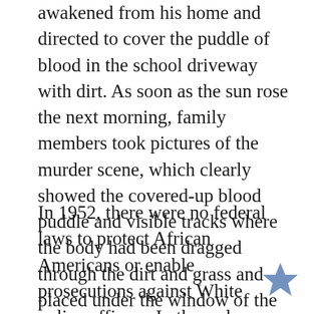awakened from his home and directed to cover the puddle of blood in the school driveway with dirt. As soon as the sun rose the next morning, family members took pictures of the murder scene, which clearly showed the covered-up blood puddle and visible tracks where the body had been dragged through the dirt and grass and placed under the window of the house.
In 1952, there were no federal laws to protect African Americans or enable prosecutions against White police officers. In those days, during Jim Crow, you could not expect White police departments to arrest or charge any White p for crimes against African Americans. Nor co you expect a White prosecutor to prosecute a